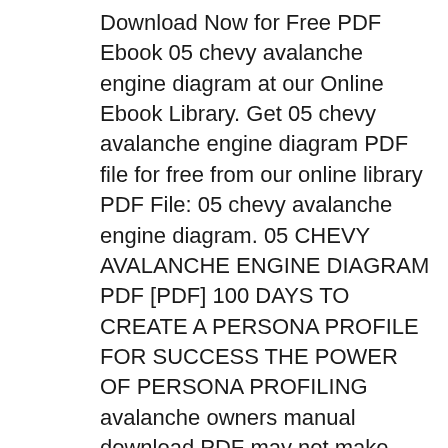Download Now for Free PDF Ebook 05 chevy avalanche engine diagram at our Online Ebook Library. Get 05 chevy avalanche engine diagram PDF file for free from our online library PDF File: 05 chevy avalanche engine diagram. 05 CHEVY AVALANCHE ENGINE DIAGRAM PDF [PDF] 100 DAYS TO CREATE A PERSONA PROFILE FOR SUCCESS THE POWER OF PERSONA PROFILING avalanche owners manual download PDF may not make exciting reading, but 2007 avalanche owners manual download is packed with valuable instructions, information and warnings. We also have many ebooks and user guide is also related with 2007 avalanche owners manual download